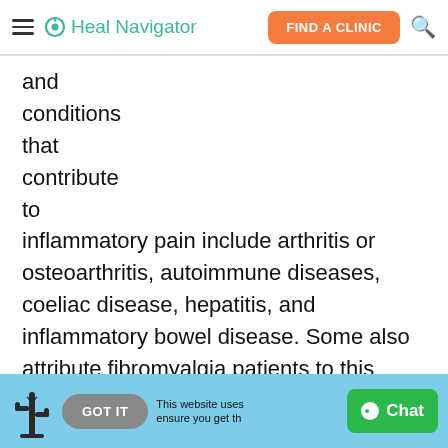Heal Navigator — FIND A CLINIC
and conditions that contribute to inflammatory pain include arthritis or osteoarthritis, autoimmune diseases, coeliac disease, hepatitis, and inflammatory bowel disease. Some also attribute fibromyalgia patients to this group.
Inflammatory Pain occurs in response to
GOT IT  This website uses cookies to ensure you get the best experience  Chat